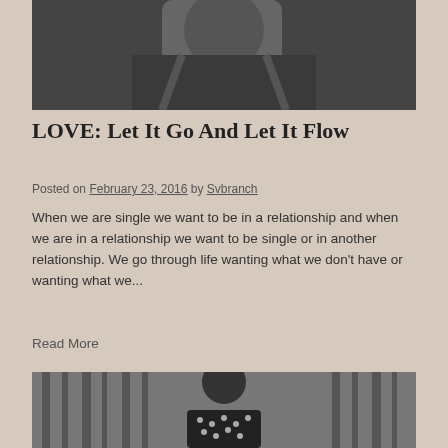[Figure (photo): Black and white photo cropped at top, showing upper body/torso area]
LOVE: Let It Go And Let It Flow
Posted on February 23, 2016 by Svbranch
When we are single we want to be in a relationship and when we are in a relationship we want to be single or in another relationship. We go through life wanting what we don’t have or wanting what we...
Read More
[Figure (photo): Black and white photo of a bald man with glasses smiling, wearing a polka dot shirt, in front of a striped curtain background]